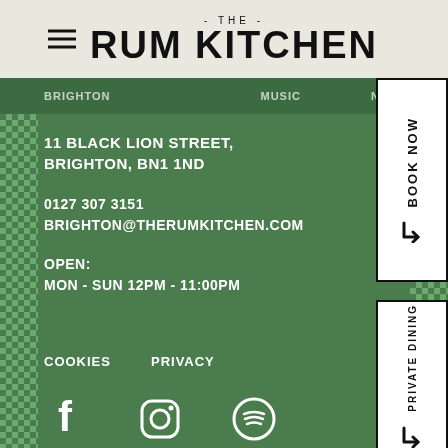THE RUM KITCHEN
BRIGHTON
MUSIC   NEWS
11 BLACK LION STREET, BRIGHTON, BN1 1ND
0127 307 3151
BRIGHTON@THERUMKITCHEN.COM
OPEN:
MON - SUN 12PM - 11:00PM
BOOK NOW
PRIVATE DINING
COOKIES   PRIVACY
[Figure (illustration): Social media icons: Facebook, Instagram, Spotify]